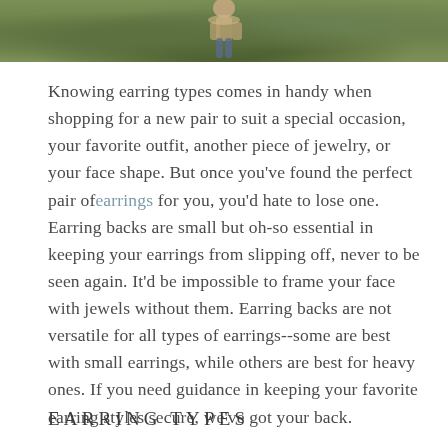[Figure (photo): Top portion of a photograph showing a person outdoors on grass, cropped so only the lower body and grass background are visible.]
Knowing earring types comes in handy when shopping for a new pair to suit a special occasion, your favorite outfit, another piece of jewelry, or your face shape. But once you've found the perfect pair of earrings for you, you'd hate to lose one. Earring backs are small but oh-so essential in keeping your earrings from slipping off, never to be seen again. It'd be impossible to frame your face with jewels without them. Earring backs are not versatile for all types of earrings--some are best with small earrings, while others are best for heavy ones. If you need guidance in keeping your favorite earring styles secure, we've got your back.
EARRING TYPES